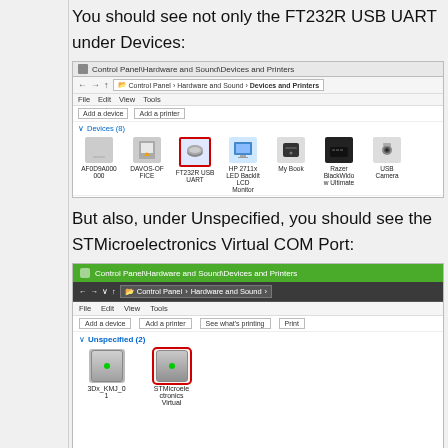You should see not only the FT232R USB UART under Devices:
[Figure (screenshot): Windows Control Panel Hardware and Sound Devices and Printers screenshot showing Devices (8) section with FT232R USB UART device highlighted with red border, along with other devices: AF0D9A000 000, DAVOS-OFFICE, HP 2711x LED Backlit LCD Monitor, My Book, Razer BlackWidow Ultimate, USB Camera]
But also, under Unspecified, you should see the STMicroelectronics Virtual COM Port:
[Figure (screenshot): Windows Control Panel Hardware and Sound Devices and Printers screenshot with green title bar showing Unspecified (2) section with 3Dx_KMJ_01 and STMicroelectronics Virtual device, the latter highlighted with red border]